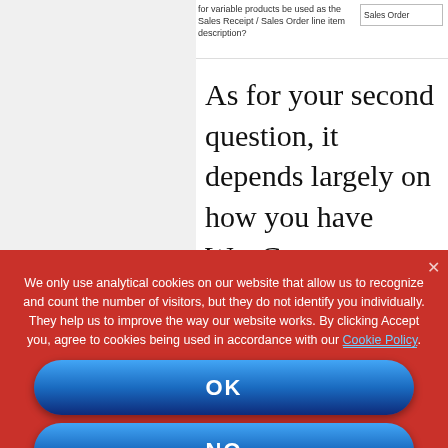[Figure (screenshot): Partial screenshot showing a form with text 'for variable products be used as the Sales Receipt / Sales Order line item description?' and a dropdown field labeled 'Sales Order']
As for your second question, it depends largely on how you have WooCommerce and QuickBooks Configured. The first image below
We only use analytical cookies on our website that allow us to recognize and count the number of visitors, but they do not identify you individually. They help us to improve the way our website works. By clicking Accept you, agree to cookies being used in accordance with our Cookie Policy.
OK
NO
COOKIE POLICY